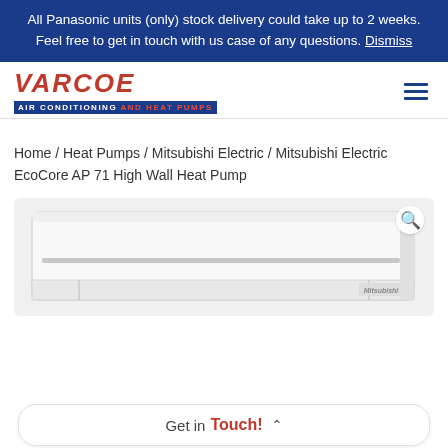All Panasonic units (only) stock delivery could take up to 2 weeks. Feel free to get in touch with us case of any questions. Dismiss
[Figure (logo): Varcoe Air Conditioning and Heat Pumps logo — red italic company name over a blue banner reading AIR CONDITIONING AND HEAT PUMPS]
Home / Heat Pumps / Mitsubishi Electric / Mitsubishi Electric EcoCore AP 71 High Wall Heat Pump
[Figure (photo): Mitsubishi Electric EcoCore AP 71 High Wall Heat Pump unit — white rectangular wall-mounted unit with horizontal grille line and Mitsubishi logo in the lower right corner]
Get in Touch!